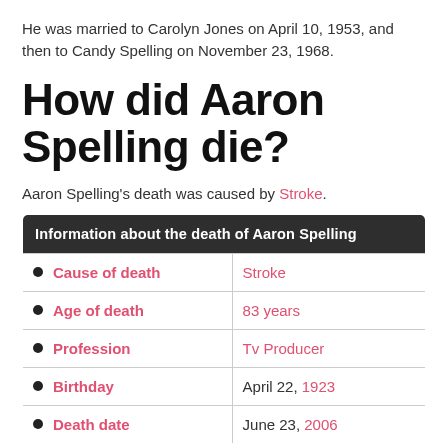He was married to Carolyn Jones on April 10, 1953, and then to Candy Spelling on November 23, 1968.
How did Aaron Spelling die?
Aaron Spelling's death was caused by Stroke.
| Information about the death of Aaron Spelling |  |
| --- | --- |
| Cause of death | Stroke |
| Age of death | 83 years |
| Profession | Tv Producer |
| Birthday | April 22, 1923 |
| Death date | June 23, 2006 |